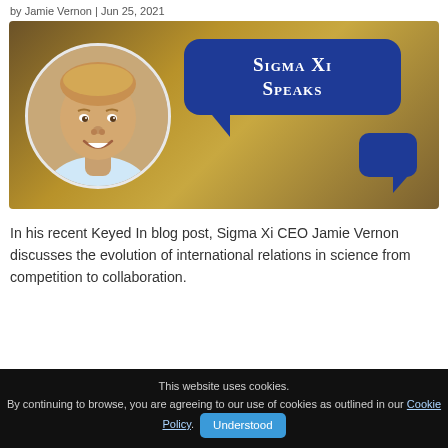by Jamie Vernon | Jun 25, 2021
[Figure (illustration): Sigma Xi Speaks banner image featuring a headshot of Jamie Vernon (smiling man with short blond hair) on a golden-brown background with two blue speech bubbles. The main bubble contains the text 'Sigma Xi Speaks' in white small-caps serif font.]
In his recent Keyed In blog post, Sigma Xi CEO Jamie Vernon discusses the evolution of international relations in science from competition to collaboration.
This website uses cookies.
By continuing to browse, you are agreeing to our use of cookies as outlined in our Cookie Policy.
Understood